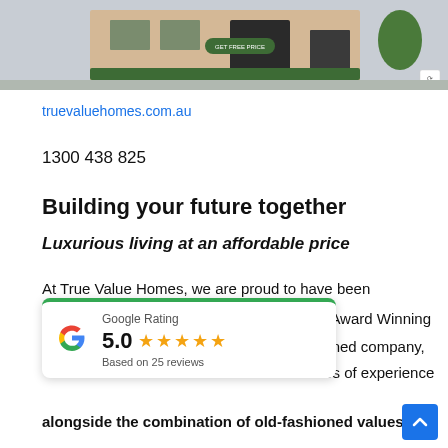[Figure (photo): Hero image of a modern house exterior with green hedges and dark garage door, with a 'Get Free Price' button overlay and reCAPTCHA icon]
truevaluehomes.com.au
1300 438 825
Building your future together
Luxurious living at an affordable price
At True Value Homes, we are proud to have been
[Figure (infographic): Google Rating card showing 5.0 stars based on 25 reviews, with Google G logo and green top border]
ne's Award Winning y-owned company, cades of experience
alongside the combination of old-fashioned values